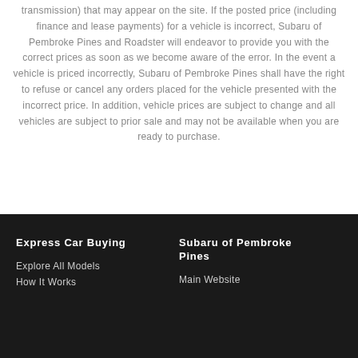transmission) that may appear on the site. If the posted price (including finance and lease payments) for a vehicle is incorrect, Subaru of Pembroke Pines and Roadster will endeavor to provide you with the correct prices as soon as we become aware of the error. In the event a vehicle is priced incorrectly, Subaru of Pembroke Pines shall have the right to refuse or cancel any orders placed for the vehicle presented with the incorrect price. In addition, vehicle prices are subject to change and all vehicles are subject to prior sale and may not be available when you are ready to purchase.
Express Car Buying
Explore All Models
How It Works
Subaru of Pembroke Pines
Main Website